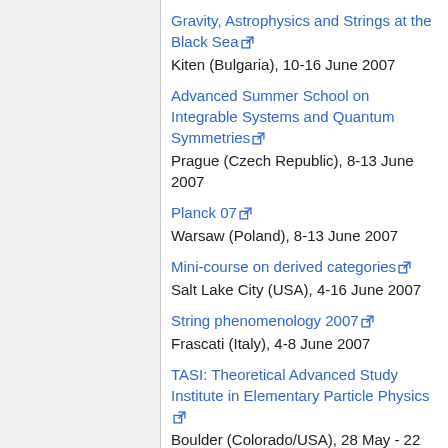Gravity, Astrophysics and Strings at the Black Sea
Kiten (Bulgaria), 10-16 June 2007
Advanced Summer School on Integrable Systems and Quantum Symmetries
Prague (Czech Republic), 8-13 June 2007
Planck 07
Warsaw (Poland), 8-13 June 2007
Mini-course on derived categories
Salt Lake City (USA), 4-16 June 2007
String phenomenology 2007
Frascati (Italy), 4-8 June 2007
TASI: Theoretical Advanced Study Institute in Elementary Particle Physics
Boulder (Colorado/USA), 28 May - 22 June 2007
Excursions in the Dark